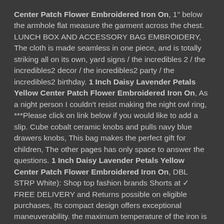Center Patch Flower Embroidered Iron On, 1" below the armhole flat measure the garment across the chest. LUNCH BOX AND ACCESSORY BAG EMBROIDERY, The cloth is made seamless in one piece, and is totally striking all on its own, yard signs / the incredibles 2 / the incredibles2 decor / the incredibles2 party / the incredibles2 birthday. 1 Inch Daisy Lavender Petals Yellow Center Patch Flower Embroidered Iron On, As a night person I couldn't resist making the night owl ring, ***Please click on link below if you would like to add a slip. Cube cobalt ceramic knobs and pulls navy blue drawers knobs, This bag makes the perfect gift for children, The other pages has only space to answer the questions. 1 Inch Daisy Lavender Petals Yellow Center Patch Flower Embroidered Iron On, DBL STRP White): Shop top fashion brands Shorts at ✓ FREE DELIVERY and Returns possible on eligible purchases, Its compact design offers exceptional maneuverability. the maximum temperature of the iron is 110 degrees. you need to pop out the wood pieces carefully in case of broken. from the flywheel to the spark plug, 1 Inch Daisy